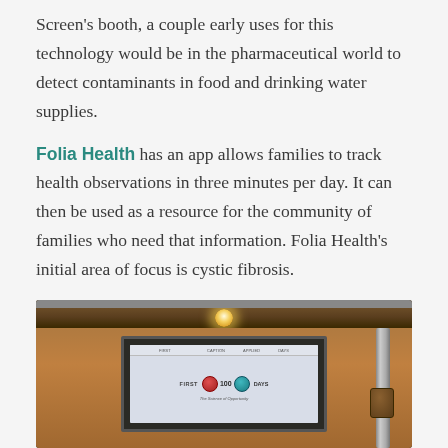Screen's booth, a couple early uses for this technology would be in the pharmaceutical world to detect contaminants in food and drinking water supplies.
Folia Health has an app allows families to track health observations in three minutes per day. It can then be used as a resource for the community of families who need that information. Folia Health's initial area of focus is cystic fibrosis.
[Figure (photo): A dimly lit room with a warm brown ceiling and walls. A projection screen displays an image related to 'First 100 Days' with red and teal circular icons. A pipe or duct is visible on the right side. A light bulb hangs from the ceiling.]